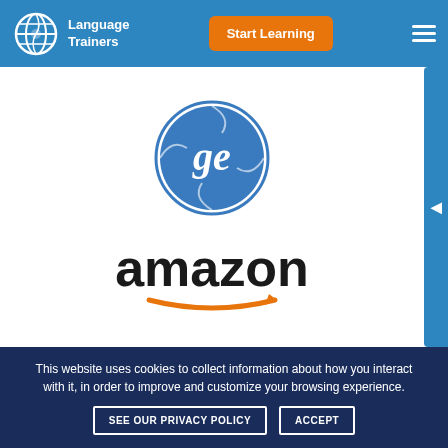[Figure (logo): Language Trainers logo with globe icon and text 'Language Trainers']
[Figure (logo): GE (General Electric) logo — blue circle with stylized 'ge' script]
[Figure (logo): Amazon logo — black 'amazon' text with orange arrow smile]
This website uses cookies to collect information about how you interact with it, in order to improve and customize your browsing experience.
SEE OUR PRIVACY POLICY
ACCEPT